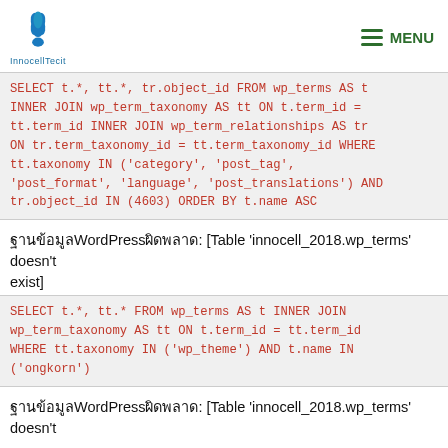InnocellTech logo and MENU
SELECT t.*, tt.*, tr.object_id FROM wp_terms AS t INNER JOIN wp_term_taxonomy AS tt ON t.term_id = tt.term_id INNER JOIN wp_term_relationships AS tr ON tr.term_taxonomy_id = tt.term_taxonomy_id WHERE tt.taxonomy IN ('category', 'post_tag', 'post_format', 'language', 'post_translations') AND tr.object_id IN (4603) ORDER BY t.name ASC
ฐานข้อมูลWordPressผิดพลาด: [Table 'innocell_2018.wp_terms' doesn't exist]
SELECT t.*, tt.* FROM wp_terms AS t INNER JOIN wp_term_taxonomy AS tt ON t.term_id = tt.term_id WHERE tt.taxonomy IN ('wp_theme') AND t.name IN ('ongkorn')
ฐานข้อมูลWordPressผิดพลาด: [Table 'innocell_2018.wp_terms' doesn't